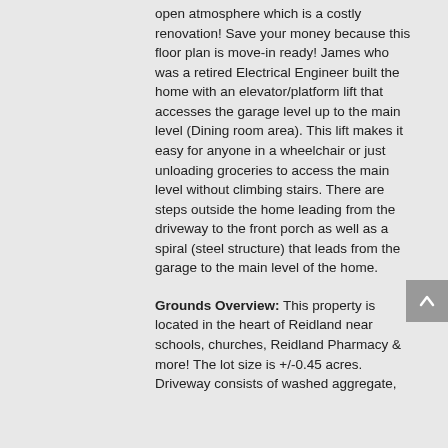open atmosphere which is a costly renovation! Save your money because this floor plan is move-in ready! James who was a retired Electrical Engineer built the home with an elevator/platform lift that accesses the garage level up to the main level (Dining room area). This lift makes it easy for anyone in a wheelchair or just unloading groceries to access the main level without climbing stairs. There are steps outside the home leading from the driveway to the front porch as well as a spiral (steel structure) that leads from the garage to the main level of the home.
Grounds Overview: This property is located in the heart of Reidland near schools, churches, Reidland Pharmacy & more! The lot size is +/-0.45 acres. Driveway consists of washed aggregate,